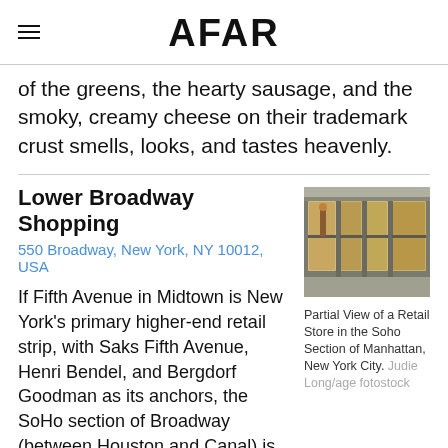AFAR
of the greens, the hearty sausage, and the smoky, creamy cheese on their trademark crust smells, looks, and tastes heavenly.
Lower Broadway Shopping
550 Broadway, New York, NY 10012, USA
[Figure (photo): Partial view of a retail store with large windows in the SoHo section of Manhattan, New York City.]
Partial View of a Retail Store in the Soho Section of Manhattan, New York City. Judie Long/age fotostock
If Fifth Avenue in Midtown is New York's primary higher-end retail strip, with Saks Fifth Avenue, Henri Bendel, and Bergdorf Goodman as its anchors, the SoHo section of Broadway (between Houston and Canal) is its less glamorous sister,